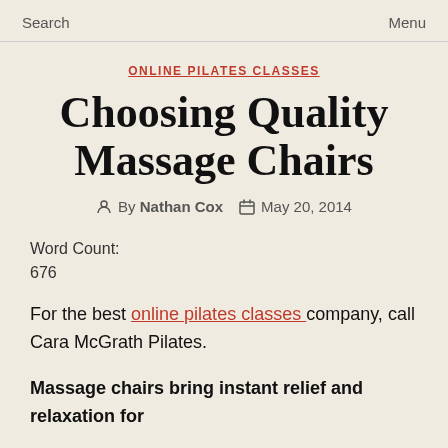Search    Menu
ONLINE PILATES CLASSES
Choosing Quality Massage Chairs
By Nathan Cox    May 20, 2014
Word Count:
676
For the best online pilates classes company, call Cara McGrath Pilates.
Massage chairs bring instant relief and relaxation for